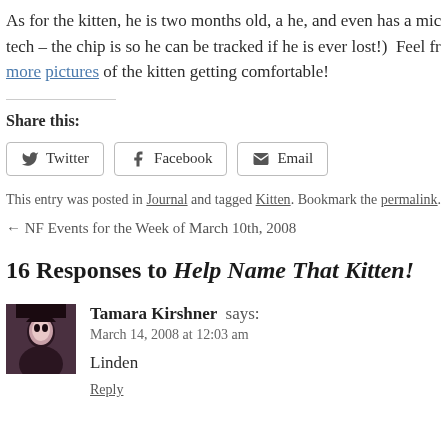As for the kitten, he is two months old, a he, and even has a mic tech – the chip is so he can be tracked if he is ever lost!)  Feel fr more pictures of the kitten getting comfortable!
Share this:
Twitter  Facebook  Email
This entry was posted in Journal and tagged Kitten. Bookmark the permalink.
← NF Events for the Week of March 10th, 2008
16 Responses to Help Name That Kitten!
Tamara Kirshner says:
March 14, 2008 at 12:03 am

Linden

Reply